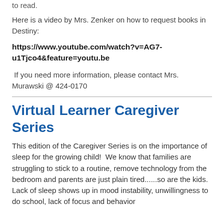to read.
Here is a video by Mrs. Zenker on how to request books in Destiny:
https://www.youtube.com/watch?v=AG7-u1Tjco4&feature=youtu.be
If you need more information, please contact Mrs. Murawski @ 424-0170
Virtual Learner Caregiver Series
This edition of the Caregiver Series is on the importance of sleep for the growing child!  We know that families are struggling to stick to a routine, remove technology from the bedroom and parents are just plain tired......so are the kids.  Lack of sleep shows up in mood instability, unwillingness to do school, lack of focus and behavior